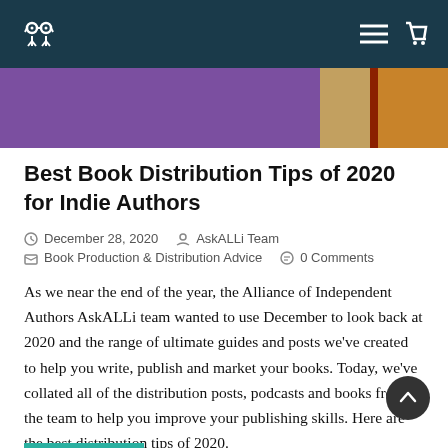AskALLi logo and navigation header
[Figure (illustration): Hero banner with purple and warm tan/orange gradient colors, partial book cover visible on right]
Best Book Distribution Tips of 2020 for Indie Authors
December 28, 2020   AskALLi Team
Book Production & Distribution Advice   0 Comments
As we near the end of the year, the Alliance of Independent Authors AskALLi team wanted to use December to look back at 2020 and the range of ultimate guides and posts we've created to help you write, publish and market your books. Today, we've collated all of the distribution posts, podcasts and books from the team to help you improve your publishing skills. Here are the best distribution tips of 2020.